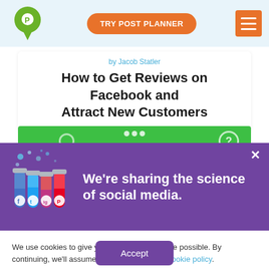[Figure (screenshot): Post Planner logo - green map pin shape with white P inside]
TRY POST PLANNER
[Figure (illustration): Hamburger menu icon on orange background]
by Jacob Statler
How to Get Reviews on Facebook and Attract New Customers
[Figure (illustration): Green banner strip with dots and question mark circle icons]
[Figure (illustration): Purple promotional banner with lab tubes illustration showing social media icons (Facebook, Twitter, Instagram, Pinterest). Text: We're sharing the science of social media. Close X button.]
We use cookies to give you the best experience possible. By continuing, we'll assume you're cool with our cookie policy.
Accept